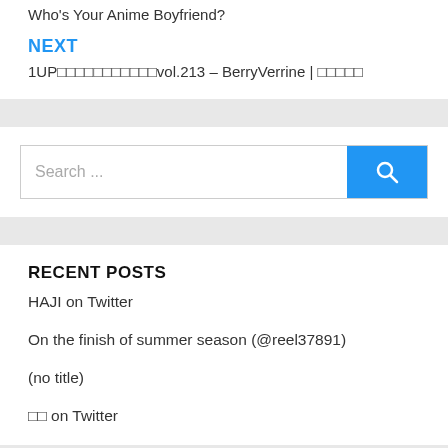Who's Your Anime Boyfriend?
NEXT
1UP□□□□□□□□□□□vol.213 – BerryVerrine | □□□□□
Search ...
RECENT POSTS
HAJI on Twitter
On the finish of summer season (@reel37891)
(no title)
□□ on Twitter